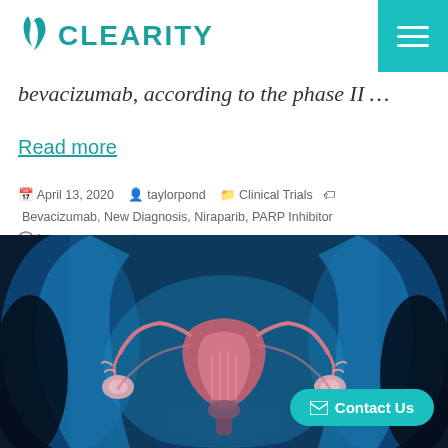CLEARITY
bevacizumab, according to the phase II …
Read more
April 13, 2020  taylorpond  Clinical Trials  Bevacizumab, New Diagnosis, Niraparib, PARP Inhibitor  Leave a comment
[Figure (illustration): Medical illustration of female reproductive system (uterus, fallopian tubes, ovaries) shown against a blue x-ray style human body silhouette background.]